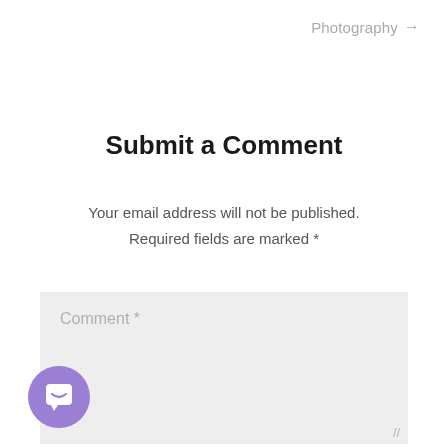Photography →
Submit a Comment
Your email address will not be published. Required fields are marked *
Comment *
[Figure (illustration): Purple circle chat/support button icon in the bottom left corner]